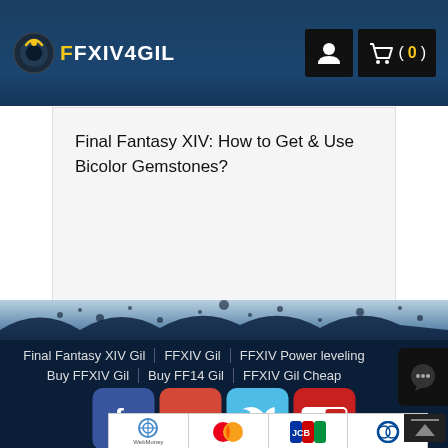FFXIV4GIL
Final Fantasy XIV: How to Get & Use Bicolor Gemstones?
[Figure (screenshot): White article content area below the title with empty space]
[Figure (illustration): Decorative transition zone with dark blue and light splatter design]
Final Fantasy XIV Gil | FFXIV Gil | FFXIV Power leveling
Buy FFXIV Gil | Buy FF14 Gil | FFXIV Gil Cheap
[Figure (logo): Facebook icon - blue rounded square with white f]
[Figure (logo): Google+ icon - red rounded square with white G+]
[Figure (logo): Twitter icon - light blue rounded square with white bird]
[Figure (logo): YouTube icon - red rounded square with white YouTube logo]
[Figure (logo): WebMoney payment logo]
[Figure (logo): Mastercard payment logo]
[Figure (logo): JCB payment logo]
[Figure (logo): Diners Club payment logo]